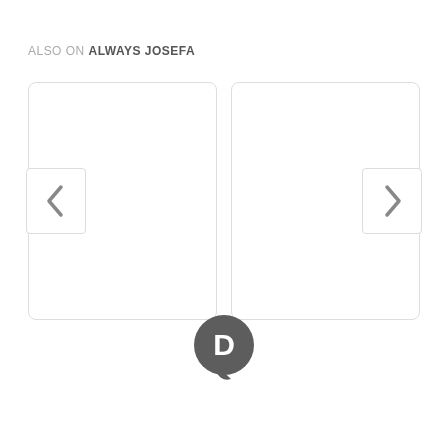ALSO ON ALWAYS JOSEFA
[Figure (screenshot): Two blank white card panels side by side with rounded corners and light gray borders, representing content cards in a carousel slider]
[Figure (logo): Disqus logo: dark gray speech bubble circle with a white letter D inside]